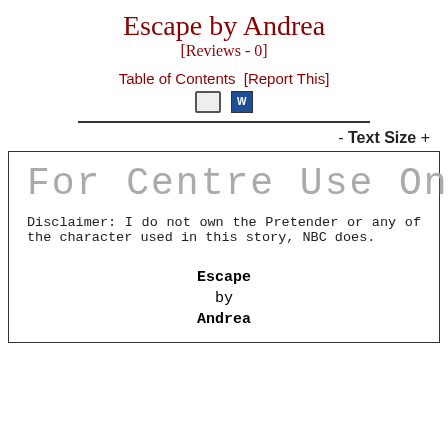Escape by Andrea
[Reviews - 0]
Table of Contents [Report This]
- Text Size +
For Centre Use Only
Disclaimer: I do not own the Pretender or any of the character used in this story, NBC does.
Escape
by
Andrea